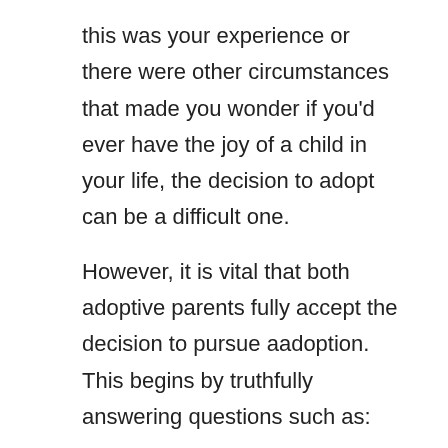this was your experience or there were other circumstances that made you wonder if you'd ever have the joy of a child in your life, the decision to adopt can be a difficult one.
However, it is vital that both adoptive parents fully accept the decision to pursue aadoption. This begins by truthfully answering questions such as:
How long are we willing to wait?
How much can we afford to pay for the process?
What type of adoption situations are comfortable with for our family?